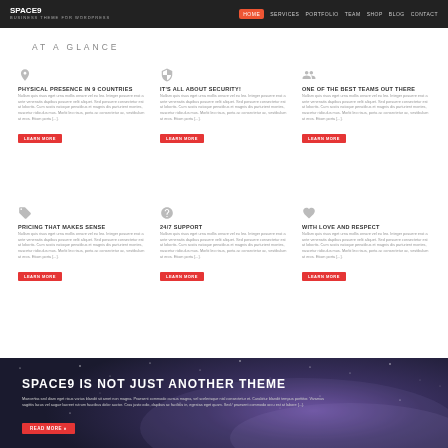SPACE9 - BUSINESS THEME FOR WORDPRESS — Navigation: HOME SERVICES PORTFOLIO TEAM SHOP BLOG CONTACT
AT A GLANCE
PHYSICAL PRESENCE IN 9 COUNTRIES
Nullam quis risus eget urna mollis ornare vel eu leo. Integer posuere erat a ante venenatis dapibus posuere velit aliquet. Sed porsuere consectetur est at lobortis. Cum sociis natoque penatibus et magnis dis parturient montes, nascetur ridiculus mus. Morbi leo risus, porta ac consectetur ac, vestibulum at eros. Etiam porta [...].
IT'S ALL ABOUT SECURITY!
Nullam quis risus eget urna mollis ornare vel eu leo. Integer posuere erat a ante venenatis dapibus posuere velit aliquet. Sed porsuere consectetur est at lobortis. Cum sociis natoque penatibus et magnis dis parturient montes, nascetur ridiculus mus. Morbi leo risus, porta ac consectetur ac, vestibulum at eros. Etiam porta [...].
ONE OF THE BEST TEAMS OUT THERE
Nullam quis risus eget urna mollis ornare vel eu leo. Integer posuere erat a ante venenatis dapibus posuere velit aliquet. Sed porsuere consectetur est at lobortis. Cum sociis natoque penatibus et magnis dis parturient montes, nascetur ridiculus mus. Morbi leo risus, porta ac consectetur ac, vestibulum at eros. Etiam porta [...].
PRICING THAT MAKES SENSE
Nullam quis risus eget urna mollis ornare vel eu leo. Integer posuere erat a ante venenatis dapibus posuere velit aliquet. Sed porsuere consectetur est at lobortis. Cum sociis natoque penatibus et magnis dis parturient montes, nascetur ridiculus mus. Morbi leo risus, porta ac consectetur ac, vestibulum at eros. Etiam porta [...].
24/7 SUPPORT
Nullam quis risus eget urna mollis ornare vel eu leo. Integer posuere erat a ante venenatis dapibus posuere velit aliquet. Sed porsuere consectetur est at lobortis. Cum sociis natoque penatibus et magnis dis parturient montes, nascetur ridiculus mus. Morbi leo risus, porta ac consectetur ac, vestibulum at eros. Etiam porta [...].
WITH LOVE AND RESPECT
Nullam quis risus eget urna mollis ornare vel eu leo. Integer posuere erat a ante venenatis dapibus posuere velit aliquet. Sed porsuere consectetur est at lobortis. Cum sociis natoque penatibus et magnis dis parturient montes, nascetur ridiculus mus. Morbi leo risus, porta ac consectetur ac, vestibulum at eros. Etiam porta [...].
[Figure (screenshot): Space9 WordPress theme promotional section with dark starry night sky background]
SPACE9 IS NOT JUST ANOTHER THEME
Maecenas sed diam eget risus varius blandit sit amet non magna. Praesent commodo cursus magna, vel scelerisque nisl consectetur et. Curabitur blandit tempus porttitor. Vivamus sagittis lacus vel augue laoreet rutrum faucibus dolor auctor. Cras justo odio, dapibus ac facilisis in, egestas eget quam. Sed / praesent commodo arcu est at labore [...].
MEET THE TEAM